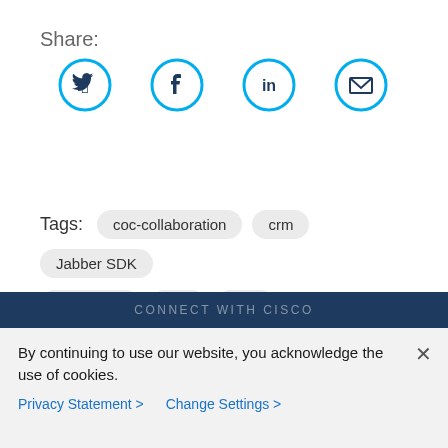Share:
[Figure (infographic): Four social share icons in cyan circles: Twitter (bird), Facebook (f), LinkedIn (in), Email (envelope)]
Tags: coc-collaboration  crm  Jabber SDK  salesforce  sdk  sfdc
CONNECT WITH CISCO
By continuing to use our website, you acknowledge the use of cookies.
Privacy Statement >   Change Settings >